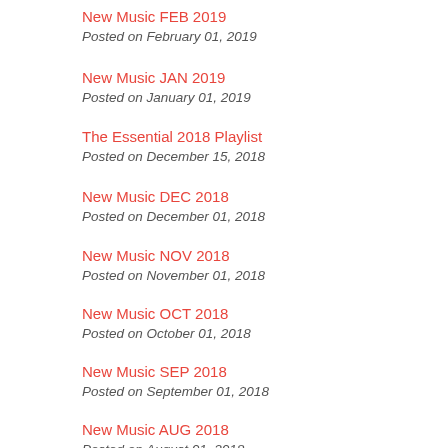New Music FEB 2019
Posted on February 01, 2019
New Music JAN 2019
Posted on January 01, 2019
The Essential 2018 Playlist
Posted on December 15, 2018
New Music DEC 2018
Posted on December 01, 2018
New Music NOV 2018
Posted on November 01, 2018
New Music OCT 2018
Posted on October 01, 2018
New Music SEP 2018
Posted on September 01, 2018
New Music AUG 2018
Posted on August 01, 2018